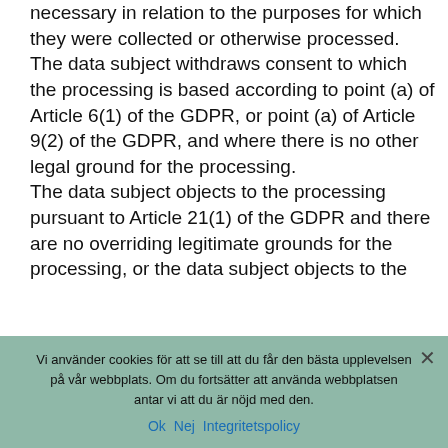necessary in relation to the purposes for which they were collected or otherwise processed.
The data subject withdraws consent to which the processing is based according to point (a) of Article 6(1) of the GDPR, or point (a) of Article 9(2) of the GDPR, and where there is no other legal ground for the processing.
The data subject objects to the processing pursuant to Article 21(1) of the GDPR and there are no overriding legitimate grounds for the processing, or the data subject objects to the
Vi använder cookies för att se till att du får den bästa upplevelsen på vår webbplats. Om du fortsätter att använda webbplatsen antar vi att du är nöjd med den.